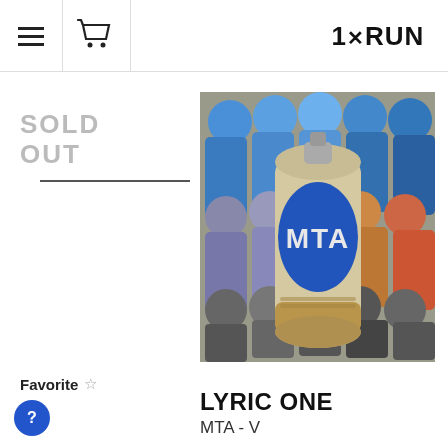1×RUN
SOLD OUT
[Figure (photo): A weathered spray paint can labeled MTA with a blue oval logo, surrounded by colorful spray cans in the background.]
Favorite ☆
LYRIC ONE
MTA - V